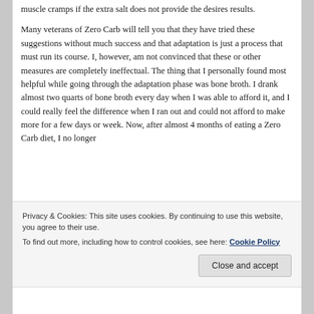muscle cramps if the extra salt does not provide the desires results.
Many veterans of Zero Carb will tell you that they have tried these suggestions without much success and that adaptation is just a process that must run its course. I, however, am not convinced that these or other measures are completely ineffectual. The thing that I personally found most helpful while going through the adaptation phase was bone broth. I drank almost two quarts of bone broth every day when I was able to afford it, and I could really feel the difference when I ran out and could not afford to make more for a few days or week. Now, after almost 4 months of eating a Zero Carb diet, I no longer
Privacy & Cookies: This site uses cookies. By continuing to use this website, you agree to their use.
To find out more, including how to control cookies, see here: Cookie Policy